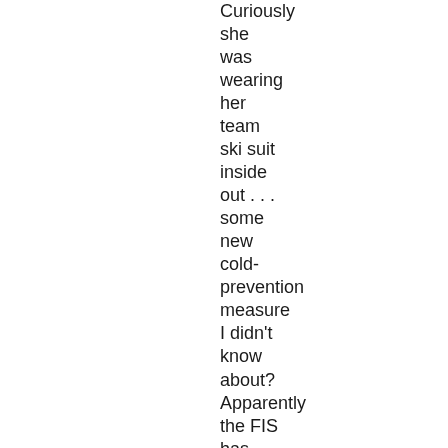Curiously she was wearing her team ski suit inside out . . . some new cold-prevention measure I didn't know about? Apparently the FIS has strict regulations with sponsors' logos, and the Rossignol logo on the suit